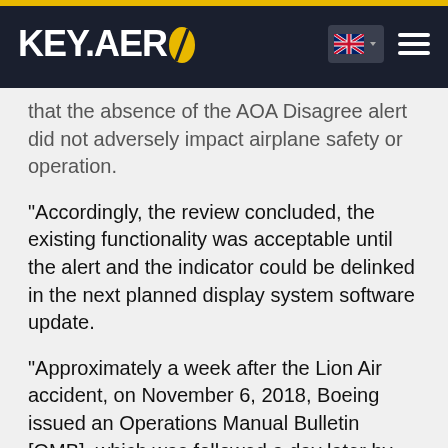KEY.AERO
that the absence of the AOA Disagree alert did not adversely impact airplane safety or operation.
“Accordingly, the review concluded, the existing functionality was acceptable until the alert and the indicator could be delinked in the next planned display system software update.
“Approximately a week after the Lion Air accident, on November 6, 2018, Boeing issued an Operations Manual Bulletin [OMB], which was followed a day later by the [Federal Aviation Administration] FAA’s issuance of an Airworthiness Directive [AD]. In identifying the AOA Disagree alert as one among a number of